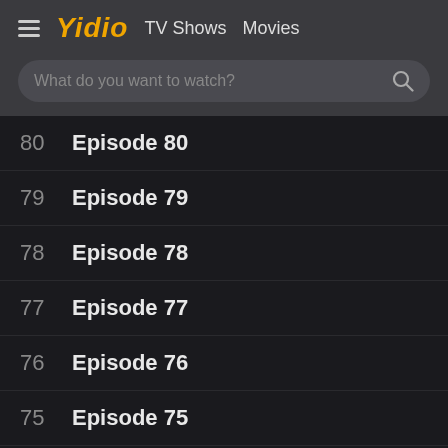Yidio  TV Shows  Movies
What do you want to watch?
80  Episode 80
79  Episode 79
78  Episode 78
77  Episode 77
76  Episode 76
75  Episode 75
74  Episode 74